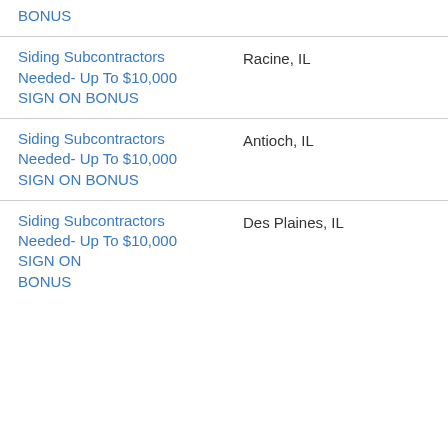Siding Subcontractors Needed- Up To $10,000 SIGN ON BONUS
Siding Subcontractors Needed- Up To $10,000 SIGN ON BONUS | Racine, IL
Siding Subcontractors Needed- Up To $10,000 SIGN ON BONUS | Antioch, IL
Siding Subcontractors Needed- Up To $10,000 SIGN ON BONUS | Des Plaines, IL